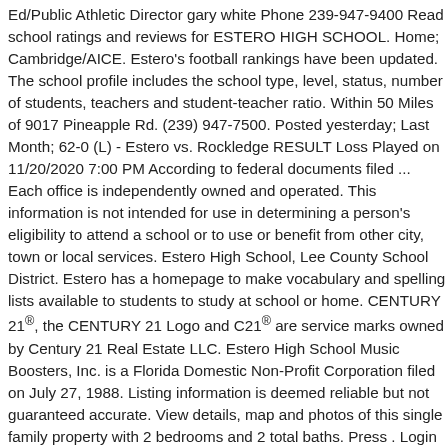Ed/Public Athletic Director gary white Phone 239-947-9400 Read school ratings and reviews for ESTERO HIGH SCHOOL. Home; Cambridge/AICE. Estero's football rankings have been updated. The school profile includes the school type, level, status, number of students, teachers and student-teacher ratio. Within 50 Miles of 9017 Pineapple Rd. (239) 947-7500. Posted yesterday; Last Month; 62-0 (L) - Estero vs. Rockledge RESULT Loss Played on 11/20/2020 7:00 PM According to federal documents filed ... Each office is independently owned and operated. This information is not intended for use in determining a person's eligibility to attend a school or to use or benefit from other city, town or local services. Estero High School, Lee County School District. Estero has a homepage to make vocabulary and spelling lists available to students to study at school or home. CENTURY 21®, the CENTURY 21 Logo and C21® are service marks owned by Century 21 Real Estate LLC. Estero High School Music Boosters, Inc. is a Florida Domestic Non-Profit Corporation filed on July 27, 1988. Listing information is deemed reliable but not guaranteed accurate. View details, map and photos of this single family property with 2 bedrooms and 2 total baths. Press . Login Login to review saved content. Estero's state rank has moved +2. It may have merged with another organization or ceased operations. Nearby Properties You Might Like. Grades 9-12. Estero High School is the 219th